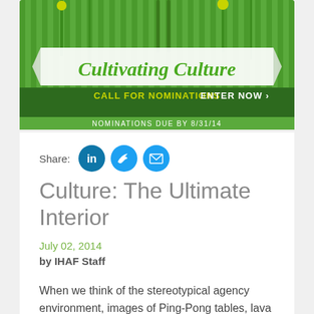[Figure (illustration): Cultivating Culture banner with green background, decorative plants/utensils, cursive title 'Cultivating Culture', dark green bar with 'CALL FOR NOMINATIONS ENTER NOW >' and lighter green bar with 'NOMINATIONS DUE BY 8/31/14']
Share:
[Figure (infographic): Three social media icons: LinkedIn (blue circle with 'in'), Twitter (blue circle with bird), Email (blue circle with envelope)]
Culture: The Ultimate Interior
July 02, 2014
by IHAF Staff
When we think of the stereotypical agency environment, images of Ping-Pong tables, lava lamps and overstuffed fluorescent chairs come to mind. Sure, outside agencies may have more freedom when it comes to furniture